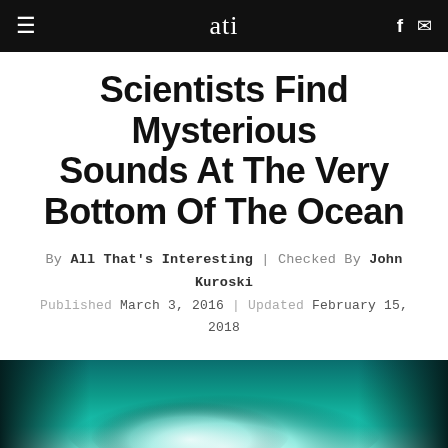ati
Scientists Find Mysterious Sounds At The Very Bottom Of The Ocean
By All That's Interesting | Checked By John Kuroski
Published March 3, 2016 | Updated February 15, 2018
Hear the first-ever Mariana Trench recording and discover exactly how it sounds in the deepest point in any ocean on planet Earth.
[Figure (photo): Underwater ocean scene showing teal/turquoise deep water with white cloud-like formations, likely from the Mariana Trench or deep ocean environment.]